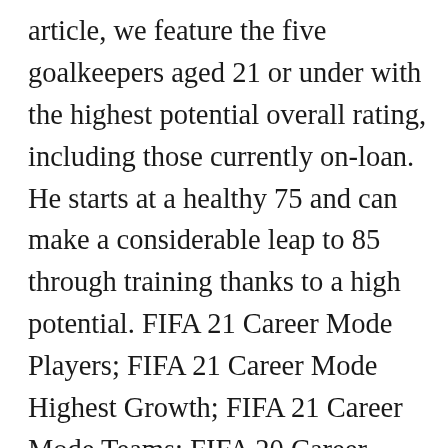article, we feature the five goalkeepers aged 21 or under with the highest potential overall rating, including those currently on-loan. He starts at a healthy 75 and can make a considerable leap to 85 through training thanks to a high potential. FIFA 21 Career Mode Players; FIFA 21 Career Mode Highest Growth; FIFA 21 Career Mode Teams; FIFA 20 Career Mode Players; FIFA 19 Career Mode Players; FIFA 18 Career Mode Players; Trading. If you want to check the best goalkeepers of previous years, just click over it: FIFA 20 FIFA 19 FIFA 18 FIFA 17 FIFA 16 FIFA 15 FIFA 14     Notes: (1) Potential is an average of estimated rating a player can reach. What's the point in scoring a